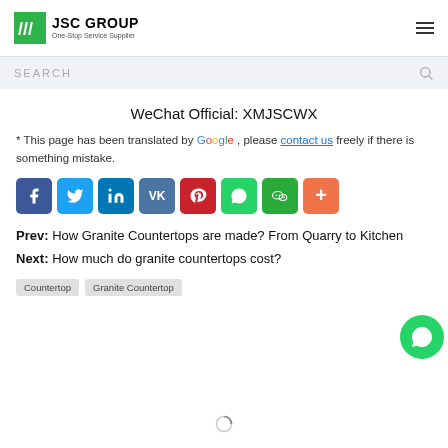JSC GROUP — One-Stop Service Supplier
SEARCH
WeChat Official: XMJSCWX
* This page has been translated by Google, please contact us freely if there is something mistake.
[Figure (infographic): Social media share icons: Facebook, Twitter, LinkedIn, VK, Pinterest, WhatsApp, WeChat, More]
Prev: How Granite Countertops are made? From Quarry to Kitchen
Next: How much do granite countertops cost?
Countertop
Granite Countertop